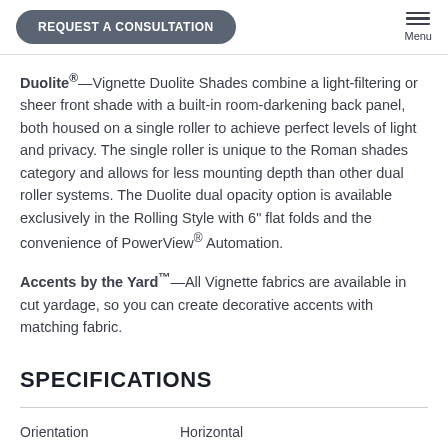REQUEST A CONSULTATION  Menu
Duolite®—Vignette Duolite Shades combine a light-filtering or sheer front shade with a built-in room-darkening back panel, both housed on a single roller to achieve perfect levels of light and privacy. The single roller is unique to the Roman shades category and allows for less mounting depth than other dual roller systems. The Duolite dual opacity option is available exclusively in the Rolling Style with 6" flat folds and the convenience of PowerView® Automation.
Accents by the Yard™—All Vignette fabrics are available in cut yardage, so you can create decorative accents with matching fabric.
SPECIFICATIONS
| Orientation | Horizontal |
| --- | --- |